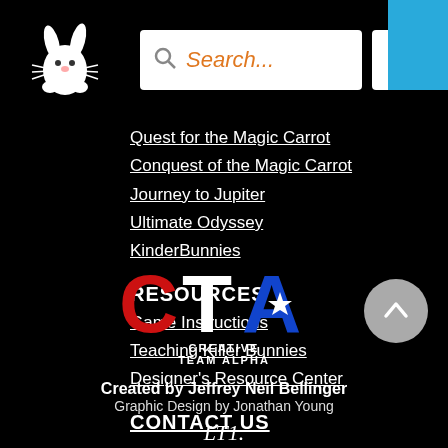[Figure (logo): White bunny/rabbit logo on black background (Killer Bunnies logo)]
[Figure (screenshot): Search bar with orange 'Search...' placeholder text and magnifying glass icon]
[Figure (other): Hamburger menu button (three horizontal lines) on white background]
Quest for the Magic Carrot
Conquest of the Magic Carrot
Journey to Jupiter
Ultimate Odyssey
KinderBunnies
RESOURCES
Game Instructions
Teaching Killer Bunnies
Designer's Resource Center
CONTACT US
[Figure (logo): CTA Creative Team Alpha logo with red C, white T, blue A with star, and text 'CREATIVE TEAM ALPHA' below]
Created by Jeffrey Neil Bellinger
Graphic Design by Jonathan Young